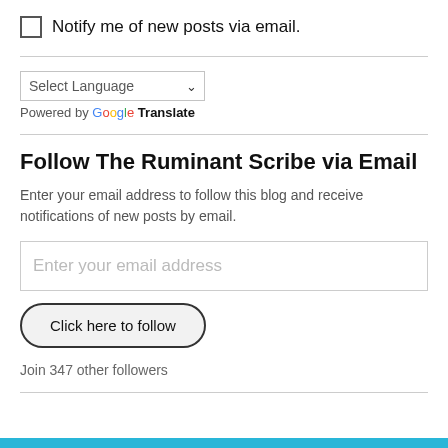Notify me of new posts via email.
Select Language
Powered by Google Translate
Follow The Ruminant Scribe via Email
Enter your email address to follow this blog and receive notifications of new posts by email.
Enter your email address
Click here to follow
Join 347 other followers